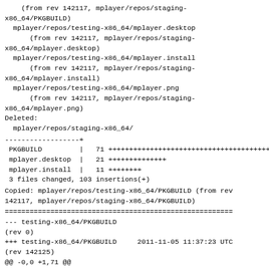(from rev 142117, mplayer/repos/staging-x86_64/PKGBUILD)
  mplayer/repos/testing-x86_64/mplayer.desktop
      (from rev 142117, mplayer/repos/staging-x86_64/mplayer.desktop)
  mplayer/repos/testing-x86_64/mplayer.install
      (from rev 142117, mplayer/repos/staging-x86_64/mplayer.install)
  mplayer/repos/testing-x86_64/mplayer.png
      (from rev 142117, mplayer/repos/staging-x86_64/mplayer.png)
Deleted:
  mplayer/repos/staging-x86_64/
------------------+
 PKGBUILD         |   71 +++++++++++++++++++++++++++++++++++++++++++++++++++++++
 mplayer.desktop  |   21 ++++++++++++++
 mplayer.install  |   11 ++++++++
 3 files changed, 103 insertions(+)
Copied: mplayer/repos/testing-x86_64/PKGBUILD (from rev 142117, mplayer/repos/staging-x86_64/PKGBUILD)
=======================================================
--- testing-x86_64/PKGBUILD
(rev 0)
+++ testing-x86_64/PKGBUILD     2011-11-05 11:37:23 UTC
(rev 142125)
@@ -0,0 +1,71 @@
+# $Id$